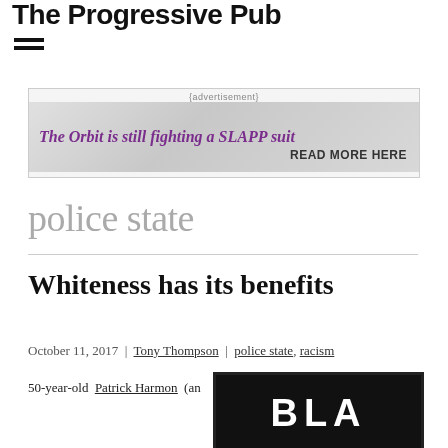The Progressive Pub
[Figure (other): Advertisement banner: 'The Orbit is still fighting a SLAPP suit READ MORE HERE']
police state
Whiteness has its benefits
October 11, 2017 | Tony Thompson | police state, racism
50-year-old Patrick Harmon (an
[Figure (photo): Black and white image with large bold text, partially visible]